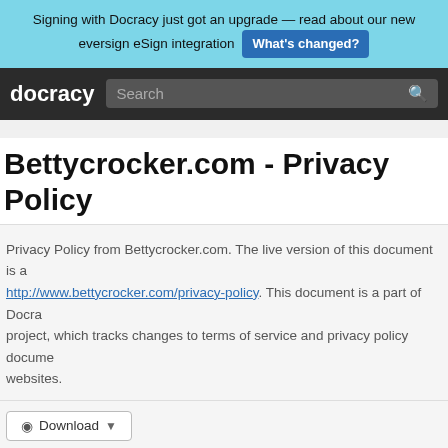Signing with Docracy just got an upgrade — read about our new eversign eSign integration What's changed?
Bettycrocker.com - Privacy Policy
Privacy Policy from Bettycrocker.com. The live version of this document is at http://www.bettycrocker.com/privacy-policy. This document is a part of Docracy project, which tracks changes to terms of service and privacy policy documents websites.
Effective Date: March 26th, 2012
At General Mills, we are very sensitive to the privacy concerns of visitors including our pages and applications on third-party social-networking ser Twitter and our applications on mobile devices. We know that maintaining our practices. This Privacy Policy gives you information...